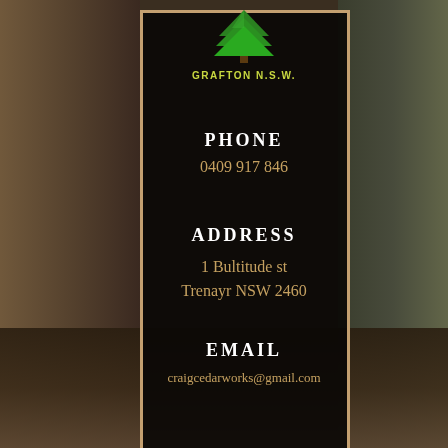[Figure (logo): Green tree logo with GRAFTON N.S.W. text below in yellow-green]
PHONE
0409 917 846
ADDRESS
1 Bultitude st
Trenayr NSW 2460
EMAIL
craigcedarworks@gmail.com